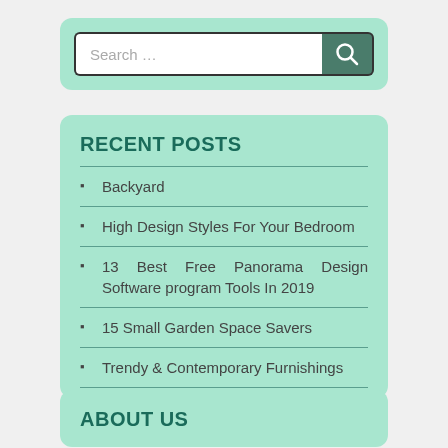[Figure (screenshot): Search bar with white input field showing placeholder text 'Search ...' and a dark teal search button with magnifying glass icon, inside a mint green rounded rectangle container.]
RECENT POSTS
Backyard
High Design Styles For Your Bedroom
13 Best Free Panorama Design Software program Tools In 2019
15 Small Garden Space Savers
Trendy & Contemporary Furnishings
ABOUT US